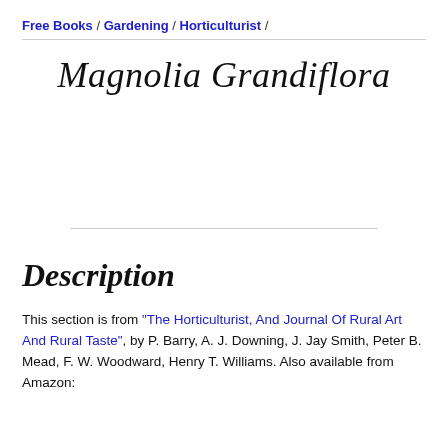Free Books / Gardening / Horticulturist /
Magnolia Grandiflora
Description
This section is from "The Horticulturist, And Journal Of Rural Art And Rural Taste", by P. Barry, A. J. Downing, J. Jay Smith, Peter B. Mead, F. W. Woodward, Henry T. Williams. Also available from Amazon: